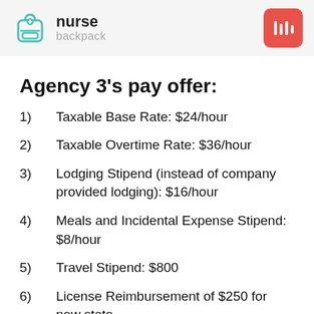nurse backpack
Agency 3’s pay offer:
1)  Taxable Base Rate: $24/hour
2)  Taxable Overtime Rate: $36/hour
3)  Lodging Stipend (instead of company provided lodging): $16/hour
4)  Meals and Incidental Expense Stipend: $8/hour
5)  Travel Stipend: $800
6)  License Reimbursement of $250 for new state